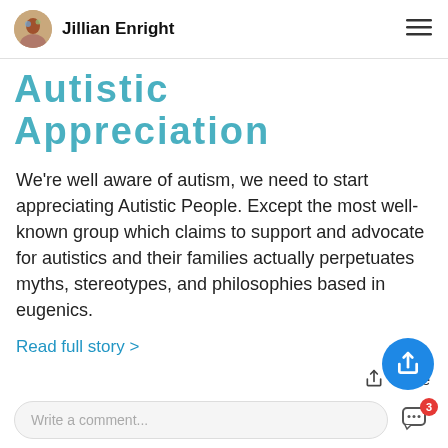Jillian Enright
Autistic Appreciation
We're well aware of autism, we need to start appreciating Autistic People. Except the most well-known group which claims to support and advocate for autistics and their families actually perpetuates myths, stereotypes, and philosophies based in eugenics.
Read full story >
Share
Write a comment...